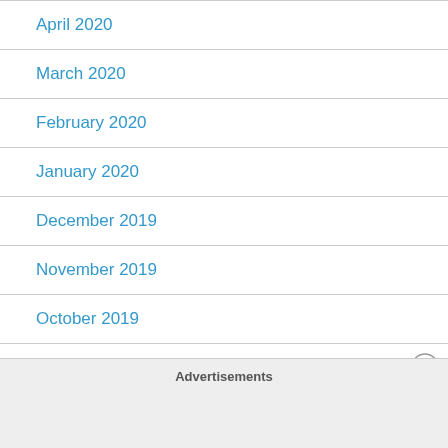April 2020
March 2020
February 2020
January 2020
December 2019
November 2019
October 2019
September 2019
Advertisements